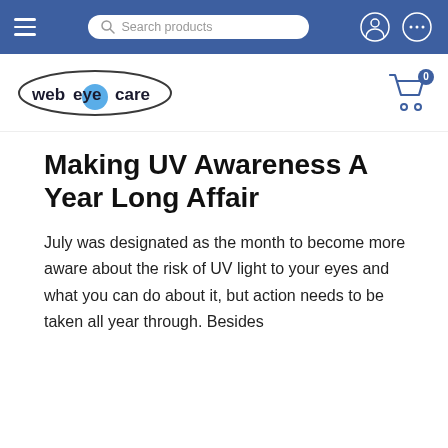Search products
[Figure (logo): WebEyeCare logo — oval with blue circle over the letter 'e' in eye, text reads 'web eye care']
Making UV Awareness A Year Long Affair
July was designated as the month to become more aware about the risk of UV light to your eyes and what you can do about it, but action needs to be taken all year through. Besides